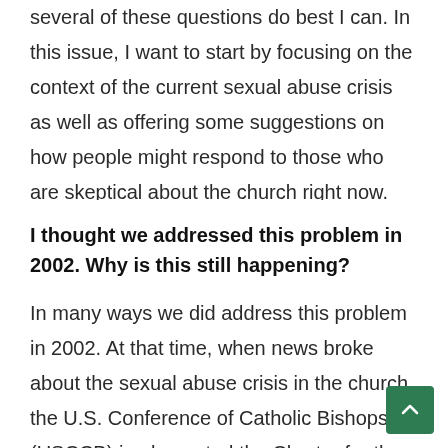several of these questions do best I can. In this issue, I want to start by focusing on the context of the current sexual abuse crisis as well as offering some suggestions on how people might respond to those who are skeptical about the church right now.
I thought we addressed this problem in 2002. Why is this still happening?
In many ways we did address this problem in 2002. At that time, when news broke about the sexual abuse crisis in the church, the U.S. Conference of Catholic Bishops (USCCB) implemented the Charter for the Protection of Children and Young People. The Charter addressed